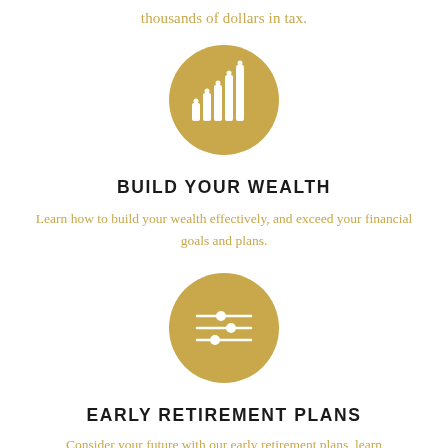thousands of dollars in tax.
[Figure (illustration): Gold circle with white bar/signal chart icon representing wealth building]
BUILD YOUR WEALTH
Learn how to build your wealth effectively, and exceed your financial goals and plans.
[Figure (illustration): Gold circle with white sliders/settings icon representing retirement plans]
EARLY RETIREMENT PLANS
Consider your future with our early retirement plans, learn